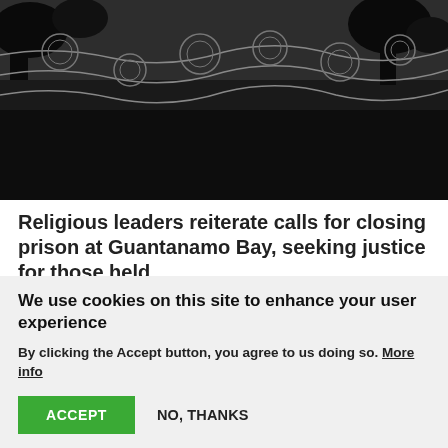[Figure (photo): Black and white photo of barbed wire fence against a grey sky, with silhouettes of trees in the background.]
Religious leaders reiterate calls for closing prison at Guantanamo Bay, seeking justice for those held
The World Council of Churches (WCC) supports a renewed call issued by interreligious leaders from the United States for the prison at Guantanamo Bay to be closed, and for justice for those being held.
We use cookies on this site to enhance your user experience
By clicking the Accept button, you agree to us doing so. More info
ACCEPT
NO, THANKS